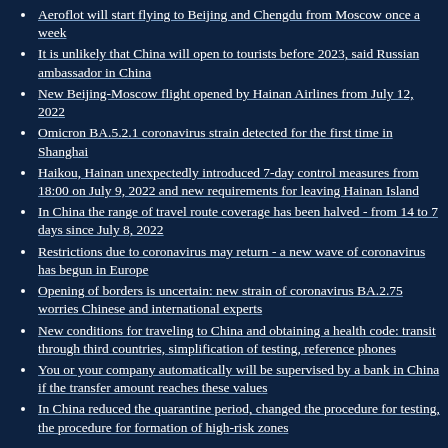Aeroflot will start flying to Beijing and Chengdu from Moscow once a week
It is unlikely that China will open to tourists before 2023, said Russian ambassador in China
New Beijing-Moscow flight opened by Hainan Airlines from July 12, 2022
Omicron BA.5.2.1 coronavirus strain detected for the first time in Shanghai
Haikou, Hainan unexpectedly introduced 7-day control measures from 18:00 on July 9, 2022 and new requirements for leaving Hainan Island
In China the range of travel route coverage has been halved - from 14 to 7 days since July 8, 2022
Restrictions due to coronavirus may return - a new wave of coronavirus has begun in Europe
Opening of borders is uncertain: new strain of coronavirus BA.2.75 worries Chinese and international experts
New conditions for traveling to China and obtaining a health code: transit through third countries, simplification of testing, reference phones
You or your company automatically will be supervised by a bank in China if the transfer amount reaches these values
In China reduced the quarantine period, changed the procedure for testing, the procedure for formation of high-risk zones